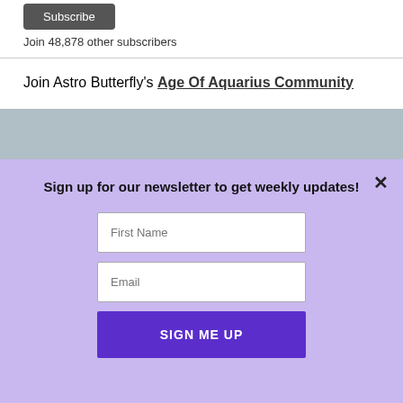Subscribe
Join 48,878 other subscribers
Join Astro Butterfly's Age Of Aquarius Community
Sign up for our newsletter to get weekly updates!
First Name
Email
SIGN ME UP